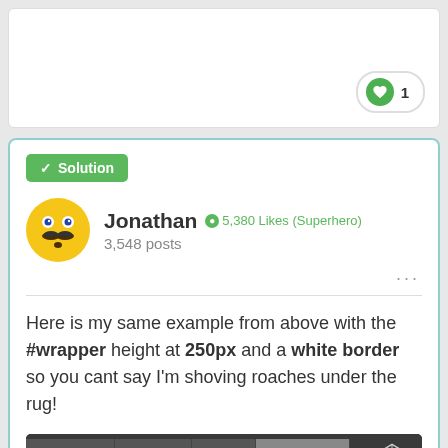[Figure (screenshot): Top of a forum post card with a like button showing a green heart icon and the number 1]
✓ Solution
[Figure (photo): User avatar: yellow smiley face emoji with a mustache]
Jonathan ● 5,380 Likes (Superhero) 3,548 posts
Here is my same example from above with the #wrapper height at 250px and a white border so you cant say I'm shoving roaches under the rug!
[Figure (screenshot): Code editor tabs showing HTML, CSS, JS, Result (active), and a CodePen icon on the right, with a dark black code area below]